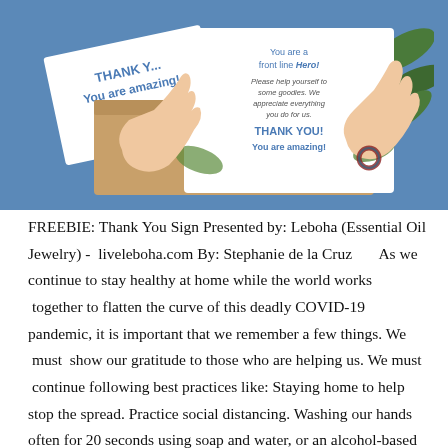[Figure (photo): Photo of two hands holding a sign that reads 'You are a front line Hero! Please help yourself to some goodies. We appreciate everything you do for us. THANK YOU! You are amazing!' On the left side another card is visible reading 'THANK YOU! You are amazing!' The background is blue with tropical plant leaves visible.]
FREEBIE: Thank You Sign Presented by: Leboha (Essential Oil Jewelry) - liveleboha.com By: Stephanie de la Cruz      As we continue to stay healthy at home while the world works  together to flatten the curve of this deadly COVID-19 pandemic, it is important that we remember a few things. We  must  show our gratitude to those who are helping us. We must  continue following best practices like: Staying home to help stop the spread. Practice social distancing. Washing our hands often for 20 seconds using soap and water, or an alcohol-based hand sanitizer